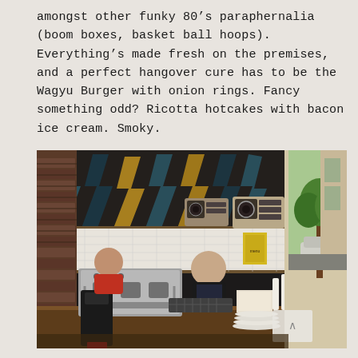amongst other funky 80’s paraphernalia (boom boxes, basket ball hoops). Everything’s made fresh on the premises, and a perfect hangover cure has to be the Wagyu Burger with onion rings. Fancy something odd? Ricotta hotcakes with bacon ice cream. Smoky.
[Figure (photo): Interior photo of a funky cafe/restaurant with 80s decor including boom boxes on shelves, lightning bolt graphics on walls, a professional espresso machine on the counter, and a barista working behind the bar. Brick walls, white tile backsplash, and view through open door to street with cars and trees visible.]